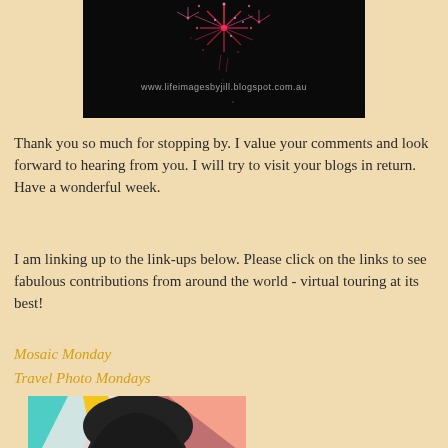[Figure (photo): Fireworks photo against black background with watermark text 'www.lifeimagesbyjill.blogspot.com.au']
Thank you so much for stopping by. I value your comments and look forward to hearing from you. I will try to visit your blogs in return. Have a wonderful week.
I am linking up to the link-ups below. Please click on the links to see fabulous contributions from around the world - virtual touring at its best!
Mosaic Monday
Travel Photo Mondays
[Figure (photo): Colorful street art mural depicting a woman's face with geometric patterns in teal, yellow, white, orange, and pink colors on a brick wall]